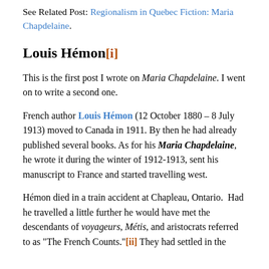See Related Post: Regionalism in Quebec Fiction: Maria Chapdelaine.
Louis Hémon[i]
This is the first post I wrote on Maria Chapdelaine. I went on to write a second one.
French author Louis Hémon (12 October 1880 – 8 July 1913) moved to Canada in 1911. By then he had already published several books. As for his Maria Chapdelaine, he wrote it during the winter of 1912-1913, sent his manuscript to France and started travelling west.
Hémon died in a train accident at Chapleau, Ontario.  Had he travelled a little further he would have met the descendants of voyageurs, Métis, and aristocrats referred to as "The French Counts."[ii] They had settled in the